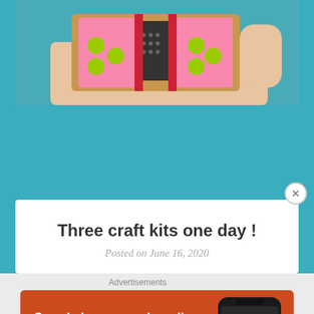[Figure (photo): Person holding a colorful craft project - a handmade item with pink glitter panels, green circles, and red/white decorative elements, wearing a teal shirt]
Three craft kits one day !
Posted on June 16, 2020
Advertisements
[Figure (photo): DuckDuckGo advertisement banner - orange/red background with text 'Search, browse, and email with more privacy. All in One Free App' and image of a smartphone with DuckDuckGo logo]